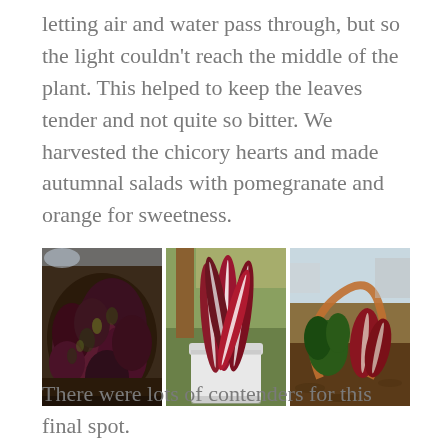letting air and water pass through, but so the light couldn't reach the middle of the plant. This helped to keep the leaves tender and not quite so bitter. We harvested the chicory hearts and made autumnal salads with pomegranate and orange for sweetness.
[Figure (photo): Three garden photos side by side: left shows dark purple-red leafy chicory plants growing in soil; center shows harvested red and white chicory leaves standing upright in a white bucket; right shows a garden bed with a curved metal ring planter containing red chicory and other green vegetables.]
There were lots of contenders for this final spot.